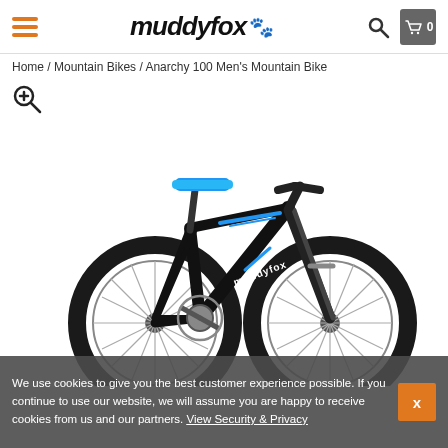muddyfox [paw icon] — navigation header with hamburger menu, search icon, and cart (0)
Home / Mountain Bikes / Anarchy 100 Men's Mountain Bike
[Figure (photo): Muddyfox Anarchy 100 Men's Mountain Bike — black frame with blue saddle and blue accent graphics, front suspension fork, knobby tires, multiple gears, white background.]
We use cookies to give you the best customer experience possible. If you continue to use our website, we will assume you are happy to receive cookies from us and our partners. View Security & Privacy